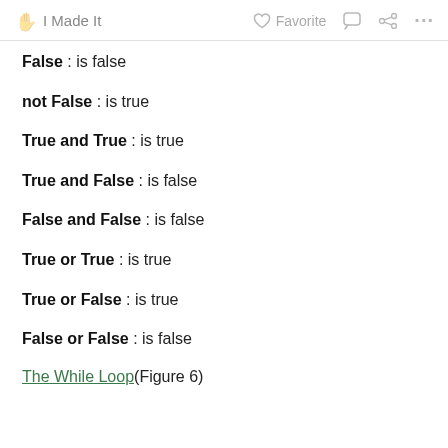✋ I Made It   ♡ Favorite   💬   ⋯
False : is false
not False : is true
True and True : is true
True and False : is false
False and False : is false
True or True : is true
True or False : is true
False or False : is false
The While Loop(Figure 6)